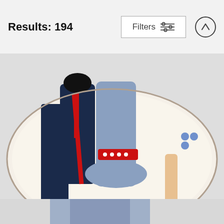Results: 194  Filters
[Figure (photo): A throw pillow featuring vintage art from 'The Bachelor and the Bobby Soxer' 1947, showing illustrated figures in retro clothing with text 'DEUX' and 'PAIX' visible on a cream background.]
"The Bachelor and the Bobby Soxer", 1947 - art by Bernard Lancy Throw Pillow
Stars on Art
$27
[Figure (photo): Bottom of next product image partially visible]